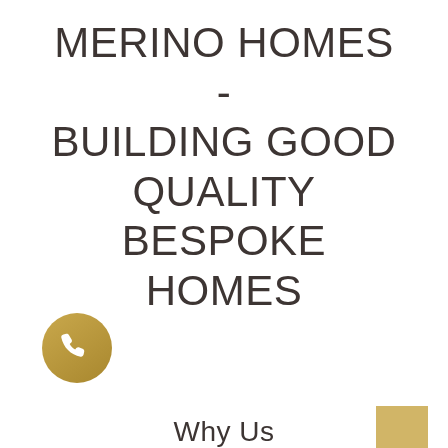MERINO HOMES - BUILDING GOOD QUALITY BESPOKE HOMES
[Figure (illustration): Gold circular phone/call button icon in lower left area]
Why Us